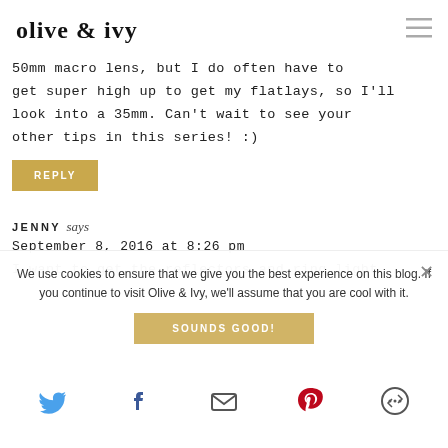olive & ivy
50mm macro lens, but I do often have to get super high up to get my flatlays, so I'll look into a 35mm. Can't wait to see your other tips in this series! :)
REPLY
JENNY says
September 8, 2016 at 8:26 pm
I want to get the reflectors and ring light
We use cookies to ensure that we give you the best experience on this blog. If you continue to visit Olive & Ivy, we'll assume that you are cool with it.
SOUNDS GOOD!
Share icons: Twitter, Facebook, Email, Pinterest, More